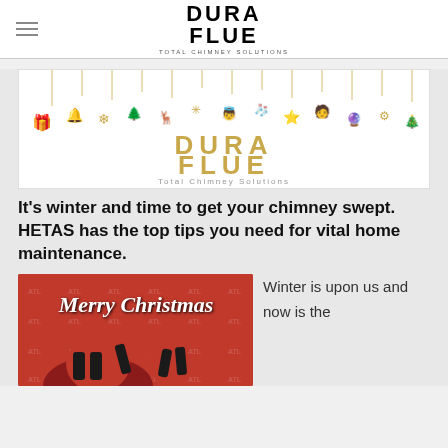DURA FLUE — TOTAL CHIMNEY SOLUTIONS
[Figure (illustration): Dura Flue Christmas banner with gold hanging ornaments and company logo in gold text on white background]
It's winter and time to get your chimney swept. HETAS has the top tips you need for vital home maintenance.
[Figure (photo): Red Christmas card image with 'Merry Christmas' in white script lettering and Santa Claus silhouette in foreground with watermark grid]
Winter is upon us and now is the